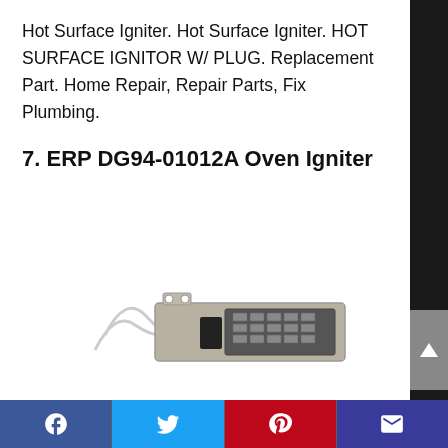Hot Surface Igniter. Hot Surface Igniter. HOT SURFACE IGNITOR W/ PLUG. Replacement Part. Home Repair, Repair Parts, Fix Plumbing.
7. ERP DG94-01012A Oven Igniter
[Figure (photo): Photo of an oven igniter part — a rectangular metallic housing with a black igniter rod visible through ventilation slots, with white wires attached, on a white background.]
Facebook | Twitter | Pinterest | Email